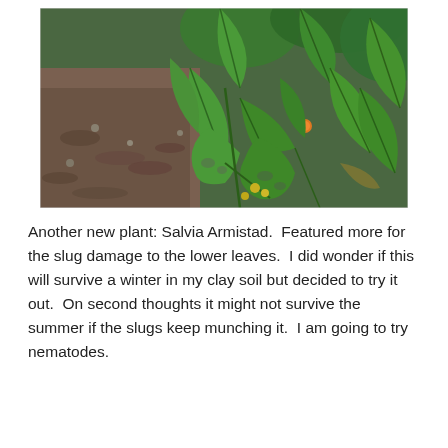[Figure (photo): Outdoor garden photograph showing green leafy plants (Salvia Armistad) with broad serrated leaves, some showing slug damage on the lower leaves. The left portion of the image shows bare dirt/mulch ground, while the right side is filled with lush green foliage. A small orange flower or berry is visible among the leaves.]
Another new plant: Salvia Armistad.  Featured more for the slug damage to the lower leaves.  I did wonder if this will survive a winter in my clay soil but decided to try it out.  On second thoughts it might not survive the summer if the slugs keep munching it.  I am going to try nematodes.